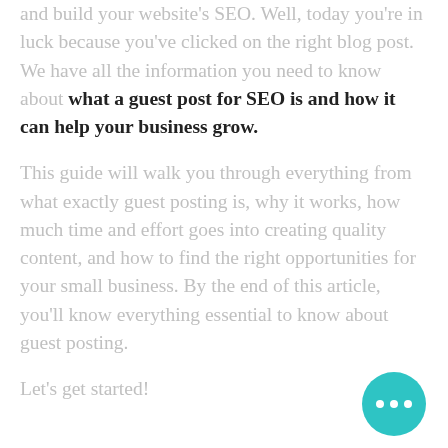and build your website's SEO. Well, today you're in luck because you've clicked on the right blog post. We have all the information you need to know about what a guest post for SEO is and how it can help your business grow.
This guide will walk you through everything from what exactly guest posting is, why it works, how much time and effort goes into creating quality content, and how to find the right opportunities for your small business. By the end of this article, you'll know everything essential to know about guest posting.
Let's get started!
[Figure (other): Teal/cyan circular chat button with three white dots (ellipsis) in the bottom right corner of the page]